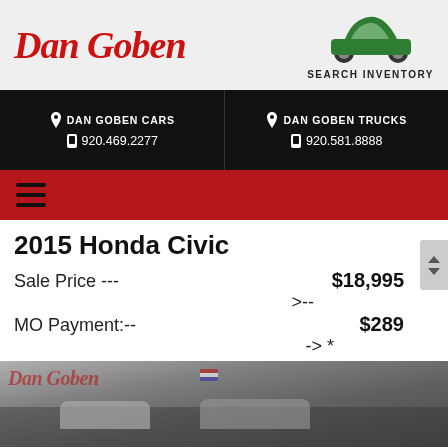[Figure (logo): Dan Goben dealership logo in red italic script text]
[Figure (illustration): Green sedan car silhouette icon above SEARCH INVENTORY text]
DAN GOBEN CARS
920.469.2277
DAN GOBEN TRUCKS
920.581.8888
[Figure (other): Red navigation bar with hamburger menu icon]
2015 Honda Civic
Sale Price --- >--	$18,995
MO Payment:-- -> *	$289
[Figure (photo): Dealership lot photo with Dan Goben logo overlay and cars visible]